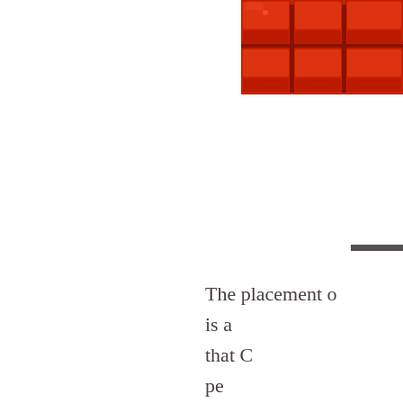[Figure (photo): Photo of rows of red stadium seats viewed from above/front]
The placement o is a that C pe to be a what we re